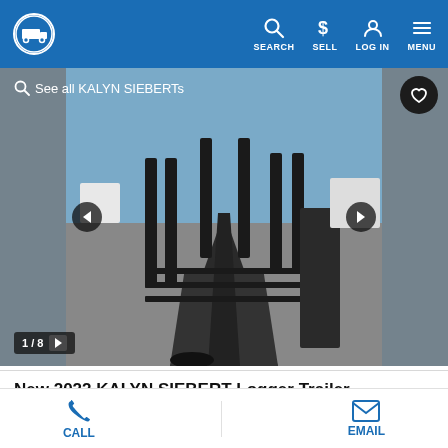SEARCH  SELL  LOG IN  MENU
[Figure (photo): Kalyn Siebert logger trailer viewed from rear deck looking forward, showing upright stakes and flatbed deck with blue sky background]
See all KALYN SIEBERTs
1 / 8
New 2022 KALYN SIEBERT Logger Trailer TRAILER
CALL  EMAIL